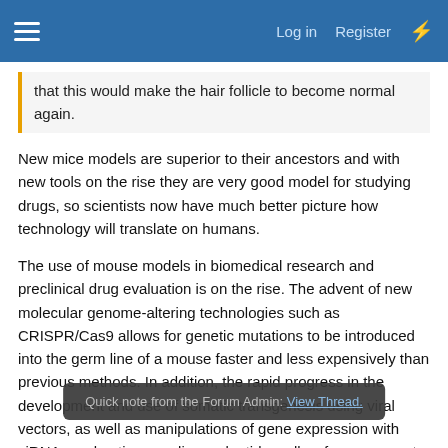Log in  Register
that this would make the hair follicle to become normal again.
New mice models are superior to their ancestors and with new tools on the rise they are very good model for studying drugs, so scientists now have much better picture how technology will translate on humans.
The use of mouse models in biomedical research and preclinical drug evaluation is on the rise. The advent of new molecular genome-altering technologies such as CRISPR/Cas9 allows for genetic mutations to be introduced into the germ line of a mouse faster and less expensively than previous methods. In addition, the rapid progress in the development and use of somatic transgenesis using viral vectors, as well as manipulations of gene expression with siRNAs and antisense oligonucleotides, allow for even greater exploration into genomics and systems biology. These technological adva... in genome sequencing have led to the identification of
Quick note from the Forum Admin: View Thread.